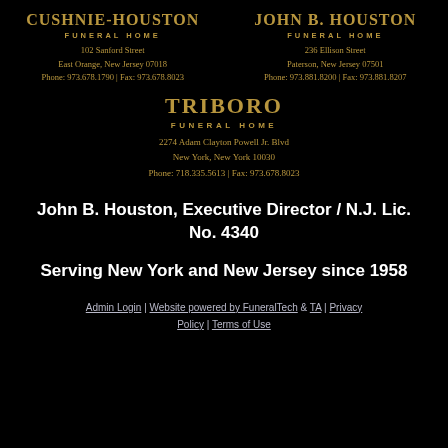CUSHNIE-HOUSTON FUNERAL HOME
102 Sanford Street
East Orange, New Jersey 07018
Phone: 973.678.1790 | Fax: 973.678.8023
JOHN B. HOUSTON FUNERAL HOME
236 Ellison Street
Paterson, New Jersey 07501
Phone: 973.881.8200 | Fax: 973.881.8207
TRIBORO FUNERAL HOME
2274 Adam Clayton Powell Jr. Blvd
New York, New York 10030
Phone: 718.335.5613 | Fax: 973.678.8023
John B. Houston, Executive Director / N.J. Lic. No. 4340
Serving New York and New Jersey since 1958
Admin Login | Website powered by FuneralTech & TA | Privacy Policy | Terms of Use